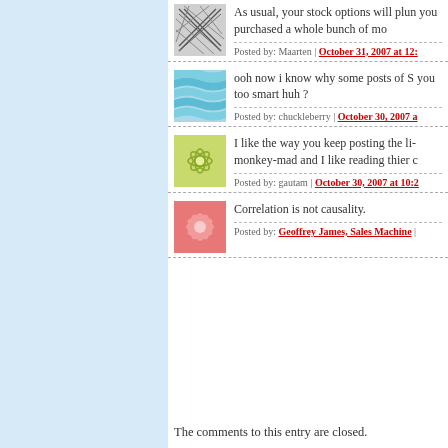As usual, your stock options will plunge you purchased a whole bunch of mo...
Posted by: Maarten | October 31, 2007 at 12:...
ooh now i know why some posts of S... you too smart huh ?
Posted by: chuckleberry | October 30, 2007 a...
I like the way you keep posting the li... monkey-mad and I like reading thier c...
Posted by: gautam | October 30, 2007 at 10:2...
Correlation is not causality.
Posted by: Geoffrey James, Sales Machine |
The comments to this entry are closed.